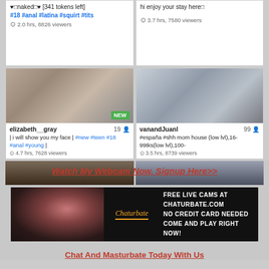[Figure (screenshot): Top partial card left: text shows heart naked heart [341 tokens left], tags #18 #anal #latina #squirt #tits, 2.0 hrs 8826 viewers]
[Figure (screenshot): Top partial card right: text hi enjoy your stay here, 3.7 hrs 7580 viewers]
[Figure (photo): elizabeth__gray webcam thumbnail with NEW badge]
elizabeth__gray 19 | i will show you my face | #new #teen #18 #anal #young | 4.7 hrs, 7628 viewers
[Figure (photo): vanandJuanl webcam thumbnail]
vanandJuanl 99 #españa #shh mom house (low lvl),16-99tks(low lvl),100- 3.5 hrs, 8739 viewers
[Figure (photo): Partial bottom left webcam thumbnail]
[Figure (photo): Partial bottom right webcam thumbnail]
Watch My Webcam Now, Signup Here>>
[Figure (screenshot): Chaturbate banner ad: FREE LIVE CAMS AT CHATURBATE.COM NO CREDIT CARD NEEDED COME AND PLAY RIGHT NOW!]
Chat And Masturbate Today With Us